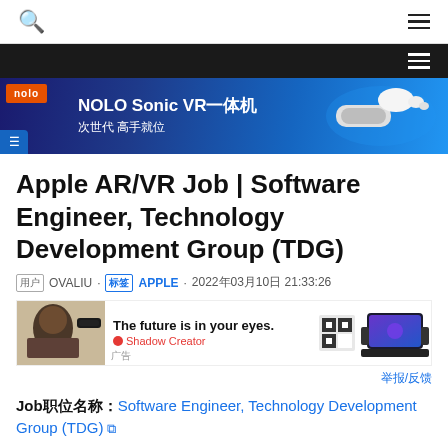Search | Menu
[Figure (screenshot): Dark header bar with hamburger menu icon in white]
[Figure (screenshot): NOLO advertisement banner: NOLO Sonic VR一体机 次世代 高手就位 with VR headset image]
Apple AR/VR Job | Software Engineer, Technology Development Group (TDG)
OVALIU · APPLE · 2022年03月10日 21:33:26
[Figure (screenshot): Shadow Creator advertisement: The future is in your eyes. with AR glasses and gaming device]
举报/反馈
Job职位名称：Software Engineer, Technology Development Group (TDG) ↗